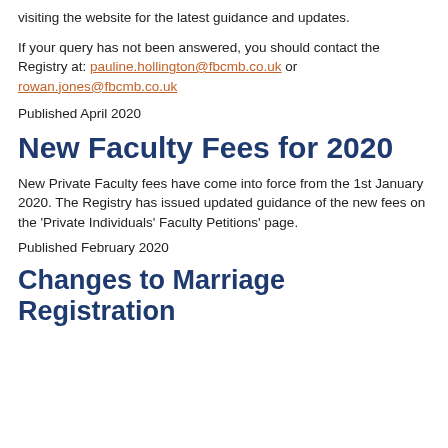visiting the website for the latest guidance and updates.
If your query has not been answered, you should contact the Registry at: pauline.hollington@fbcmb.co.uk or rowan.jones@fbcmb.co.uk
Published April 2020
New Faculty Fees for 2020
New Private Faculty fees have come into force from the 1st January 2020. The Registry has issued updated guidance of the new fees on the 'Private Individuals' Faculty Petitions' page.
Published February 2020
Changes to Marriage Registration